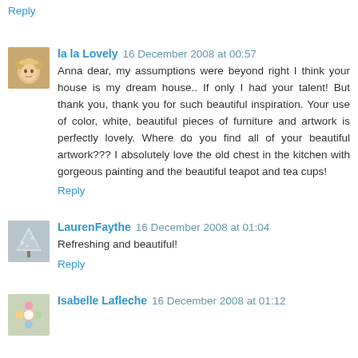Reply
la la Lovely  16 December 2008 at 00:57
Anna dear, my assumptions were beyond right I think your house is my dream house.. If only I had your talent! But thank you, thank you for such beautiful inspiration. Your use of color, white, beautiful pieces of furniture and artwork is perfectly lovely. Where do you find all of your beautiful artwork??? I absolutely love the old chest in the kitchen with gorgeous painting and the beautiful teapot and tea cups!
Reply
LaurenFaythe  16 December 2008 at 01:04
Refreshing and beautiful!
Reply
Isabelle Lafleche  16 December 2008 at 01:12